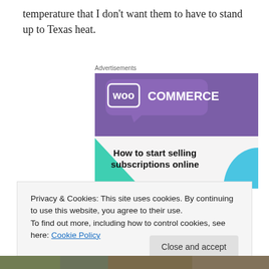temperature that I don't want them to have to stand up to Texas heat.
Advertisements
[Figure (screenshot): WooCommerce advertisement banner showing 'How to start selling subscriptions online' with purple and teal design elements]
Privacy & Cookies: This site uses cookies. By continuing to use this website, you agree to their use.
To find out more, including how to control cookies, see here: Cookie Policy
[Figure (photo): Partial bottom photo strip visible at base of page]